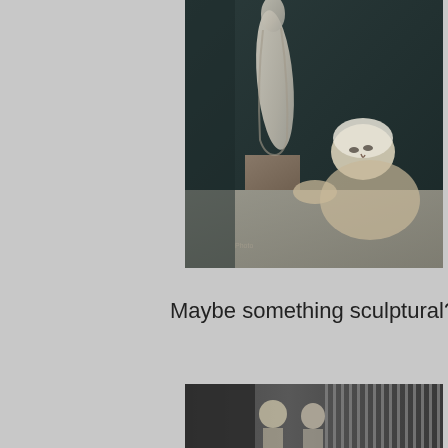[Figure (photo): Black and white photograph of a woman with short light hair gazing up at a tall sculptural figure on a pedestal, in a dark background setting.]
Maybe something sculptural?
[Figure (photo): Black and white photograph showing people standing in an interior room with vertical striped or paneled wall or curtain elements.]